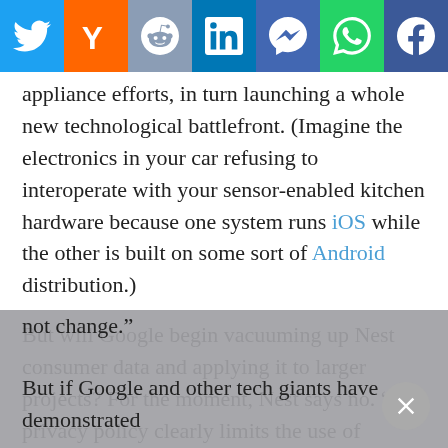[Figure (other): Social sharing bar with icons for Twitter, Y Combinator (Hacker News), Reddit, LinkedIn, Messenger, WhatsApp, and Facebook]
appliance efforts, in turn launching a whole new technological battlefront. (Imagine the electronics in your car refusing to interoperate with your sensor-enabled kitchen hardware because one system runs iOS while the other is built on some sort of Android distribution.)
But will Google begin vacuuming up Nest consumer data and applying it to larger projects? For the moment, Nest says no. “Our privacy policy clearly limits the use of customer information to providing and improving Nest’s products and services,” reads the company’s updated FAQ. “We’ve always taken privacy seriously and this will not change.”
But if Google and other tech giants have demonstrated